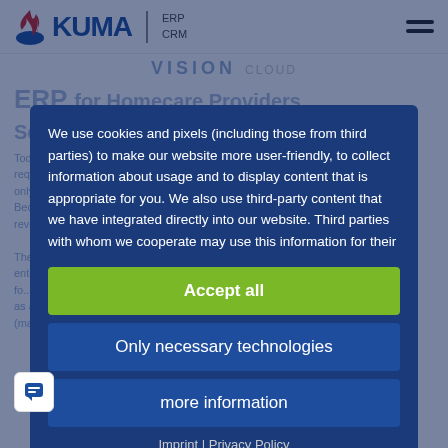[Figure (logo): Okuma logo with flame icon, 'KUMA' wordmark in blue, and 'ERP CRM' text. Hamburger menu icon on the right.]
VISION
CLOUD
ERP [heading text partially visible]
Service [partially visible]
Today, homecare service providers are faced with multiple requ... varie... awa... only... Because despite increasing transaction numbers, the revenue per transac...
The result: Homecare service providers are increasingly entering the area in... their transaction fo... and to be perceived by the health insurance funds as a visible contracting partner. At the same time, this new (market) situation places entirely new demands on
We use cookies and pixels (including those from third parties) to make our website more user-friendly, to collect information about usage and to display content that is appropriate for you. We also use third-party content that we have integrated directly into our website. Third parties with whom we cooperate may use this information for their
Accept all
Only necessary technologies
more information
Imprint | Privacy Policy